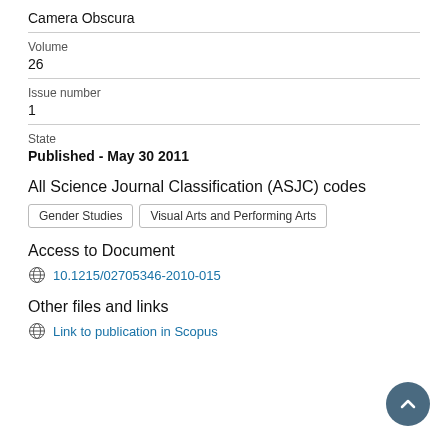Camera Obscura
Volume
26
Issue number
1
State
Published - May 30 2011
All Science Journal Classification (ASJC) codes
Gender Studies
Visual Arts and Performing Arts
Access to Document
10.1215/02705346-2010-015
Other files and links
Link to publication in Scopus